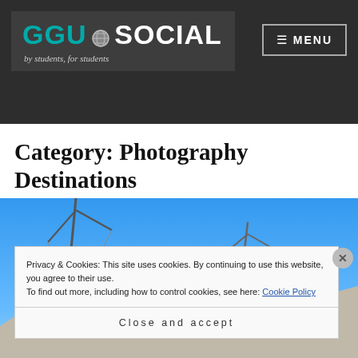[Figure (logo): GGU Social logo - teal GGU text and white SOCIAL text with globe icon, tagline 'by students, for students']
≡ MENU
Category: Photography Destinations
[Figure (photo): Outdoor photo showing construction cranes against a bright blue sky with mountains in background]
Privacy & Cookies: This site uses cookies. By continuing to use this website, you agree to their use.
To find out more, including how to control cookies, see here: Cookie Policy
Close and accept